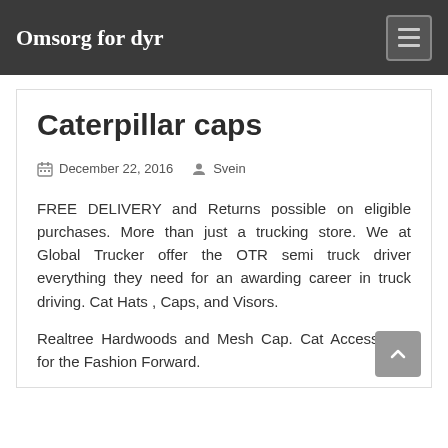Omsorg for dyr
Caterpillar caps
December 22, 2016   Svein
FREE DELIVERY and Returns possible on eligible purchases. More than just a trucking store. We at Global Trucker offer the OTR semi truck driver everything they need for an awarding career in truck driving. Cat Hats , Caps, and Visors.
Realtree Hardwoods and Mesh Cap. Cat Accessories for the Fashion Forward.